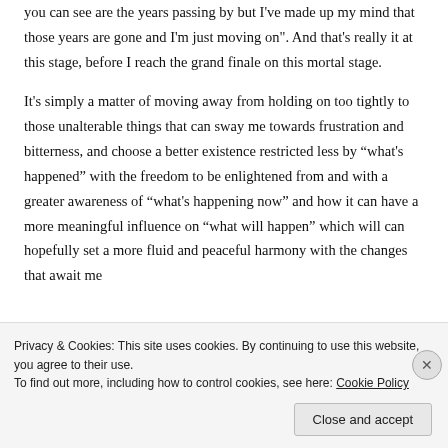you can see are the years passing by but I've made up my mind that those years are gone and I'm just moving on". And that's really it at this stage, before I reach the grand finale on this mortal stage.
It's simply a matter of moving away from holding on too tightly to those unalterable things that can sway me towards frustration and bitterness, and choose a better existence restricted less by “what's happened” with the freedom to be enlightened from and with a greater awareness of “what's happening now” and how it can have a more meaningful influence on “what will happen” which will can hopefully set a more fluid and peaceful harmony with the changes that await me
Privacy & Cookies: This site uses cookies. By continuing to use this website, you agree to their use.
To find out more, including how to control cookies, see here: Cookie Policy
Close and accept